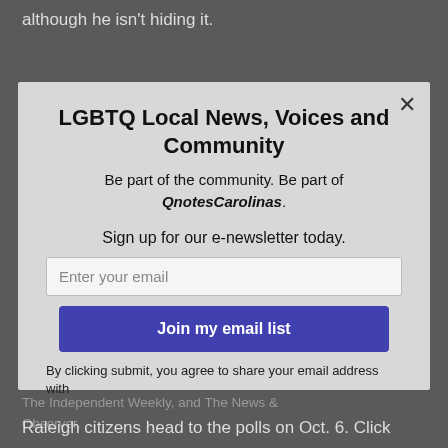although he isn't hiding it.
"I'm a... candidate," Sartain said in a QnotesCarolinas interview in June. In 2009, he said, a gay person can be "just a candidate" and focus on issues that impact the lives of all citizens.
LGBTQ Local News, Voices and Community
Be part of the community. Be part of QnotesCarolinas.
Sign up for our e-newsletter today.
Enter your email
Join my email list
Sartain has been endorsed by the Raleigh Police... endorsement decisions from other local groups, The Independent Weekly, and The News & Observer.
By clicking submit, you agree to share your email address with
Raleigh citizens head to the polls on Oct. 6. Click